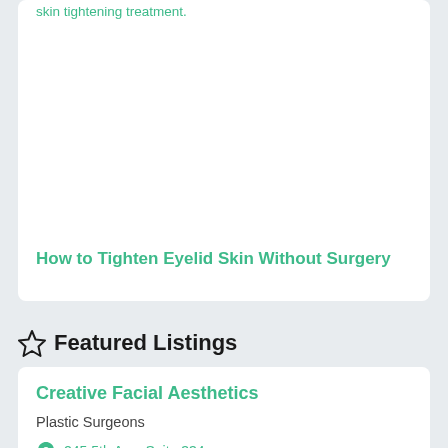skin tightening treatment.
How to Tighten Eyelid Skin Without Surgery
Featured Listings
Creative Facial Aesthetics
Plastic Surgeons
245 5th Ave, Suite 334, New York, NY 10016